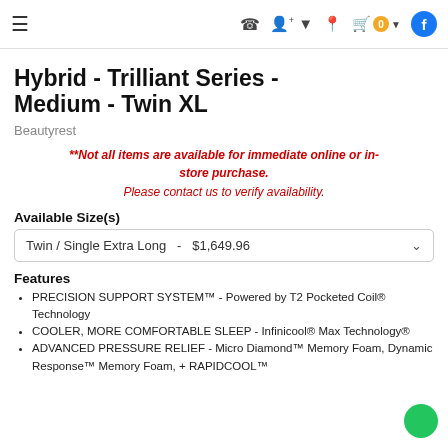Navigation bar with menu, phone, account, location, cart (0), and Facebook icons
Hybrid - Trilliant Series - Medium - Twin XL
Beautyrest
**Not all items are available for immediate online or in-store purchase. Please contact us to verify availability.
Available Size(s)
Twin / Single Extra Long  -  $1,649.96
Features
PRECISION SUPPORT SYSTEM™ - Powered by T2 Pocketed Coil® Technology
COOLER, MORE COMFORTABLE SLEEP - Infinicool® Max Technology®
ADVANCED PRESSURE RELIEF - Micro Diamond™ Memory Foam, Dynamic Response™ Memory Foam, + RAPIDCOOL™